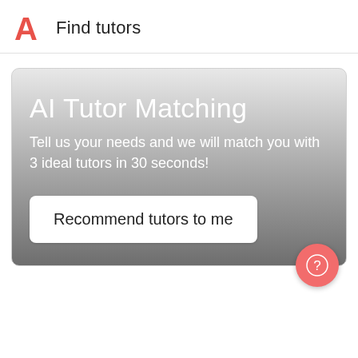Find tutors
AI Tutor Matching
Tell us your needs and we will match you with 3 ideal tutors in 30 seconds!
Recommend tutors to me